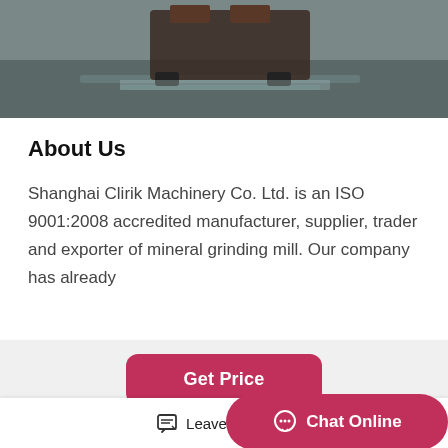[Figure (photo): Top portion of a photo showing industrial machinery on a factory floor with grey/green floor.]
About Us
Shanghai Clirik Machinery Co. Ltd. is an ISO 9001:2008 accredited manufacturer, supplier, trader and exporter of mineral grinding mill. Our company has already
[Figure (other): Get Price button — pink/red rounded rectangle button]
[Figure (photo): Bottom photo showing exterior of a white industrial factory building.]
[Figure (other): Scroll-to-top button with double chevron up arrow, pink/red rounded square.]
Leave Message   Chat Online